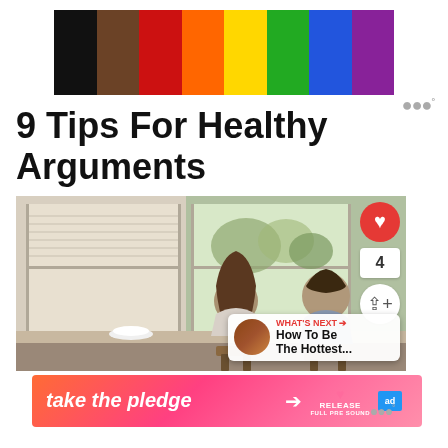[Figure (other): Horizontal color bar strip showing: black, brown, red, orange, yellow, green, blue, purple vertical bands]
9 Tips For Healthy Arguments
[Figure (photo): Photo of a couple sitting with their backs to the camera, looking out a window. Social interaction buttons (heart, share) on the right side. A 'What's Next' preview panel in the bottom right corner showing 'How To Be The Hottest...']
[Figure (infographic): Orange/pink advertisement banner reading 'take the pledge' with an arrow, Release logo, and ad icon]